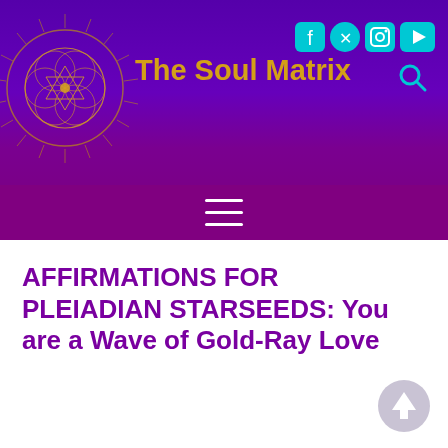[Figure (logo): The Soul Matrix website header with sacred geometry logo, site title in gold, social media icons (Facebook, Twitter, Instagram, YouTube) and search icon in cyan, on a purple gradient background]
[Figure (other): Hamburger menu icon (three white horizontal lines) on a purple background]
AFFIRMATIONS FOR PLEIADIAN STARSEEDS: You are a Wave of Gold-Ray Love